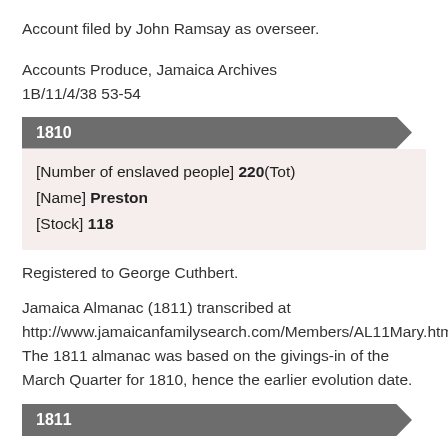Account filed by John Ramsay as overseer.
Accounts Produce, Jamaica Archives
1B/11/4/38 53-54
1810
[Number of enslaved people] 220(Tot)
[Name] Preston
[Stock] 118
Registered to George Cuthbert.
Jamaica Almanac (1811) transcribed at http://www.jamaicanfamilysearch.com/Members/AL11Mary.htm. The 1811 almanac was based on the givings-in of the March Quarter for 1810, hence the earlier evolution date.
1811